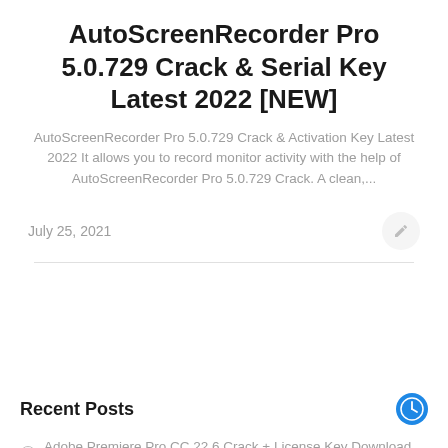AutoScreenRecorder Pro 5.0.729 Crack & Serial Key Latest 2022 [NEW]
AutoScreenRecorder Pro 5.0.729 Crack & Activation Key Latest 2022 It allows you to record monitor activity with the help of AutoScreenRecorder Pro 5.0.729 Crack. A clean,...
July 25, 2021
Recent Posts
Adobe Premiere Pro CC 22.6 Crack + License Key Download 2022